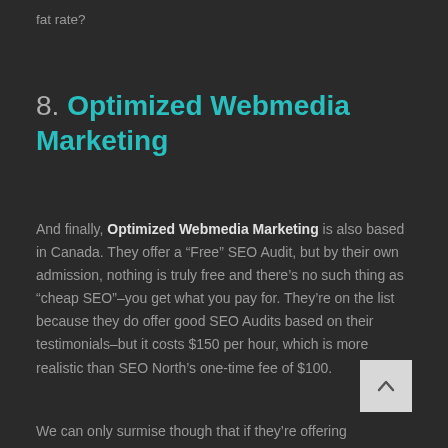fat rate?
8. Optimized Webmedia Marketing
And finally, Optimized Webmedia Marketing is also based in Canada. They offer a “Free” SEO Audit, but by their own admission, nothing is truly free and there’s no such thing as “cheap SEO”–you get what you pay for. They’re on the list because they do offer good SEO Audits based on their testimonials–but it costs $150 per hour, which is more realistic than SEO North’s one-time fee of $100.
We can only surmise though that if they’re offering